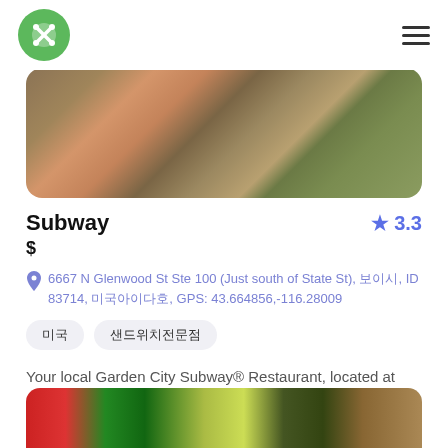Logo and navigation header
[Figure (photo): Close-up photo of a Subway sandwich on paper wrapper]
Subway
3.3
$
6667 N Glenwood St Ste 100 (Just south of State St), 보이시, ID 83714, 미국아이다호, GPS: 43.664856,-116.28009
미국
샌드위치전문점
Your local Garden City Subway® Restaurant, located at 6667 Glenwood Street brings delicious ingredients and mouth-watering flavors in billions of sandwich, salad and wrap combinations to you.
[Figure (photo): Partial bottom photo of Subway restaurant or food item]